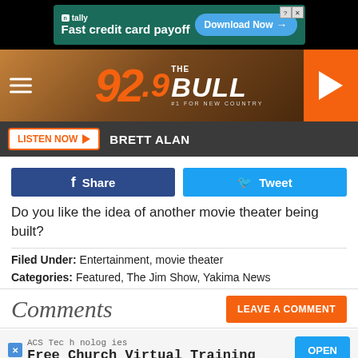[Figure (screenshot): Tally advertisement banner: Fast credit card payoff with Download Now button]
[Figure (logo): 92.9 The Bull radio station logo with play button]
LISTEN NOW  BRETT ALAN
f Share
Tweet
Do you like the idea of another movie theater being built?
Filed Under: Entertainment, movie theater
Categories: Featured, The Jim Show, Yakima News
Comments
LEAVE A COMMENT
[Figure (screenshot): ACS Technologies advertisement: Free Church Virtual Training with OPEN button]